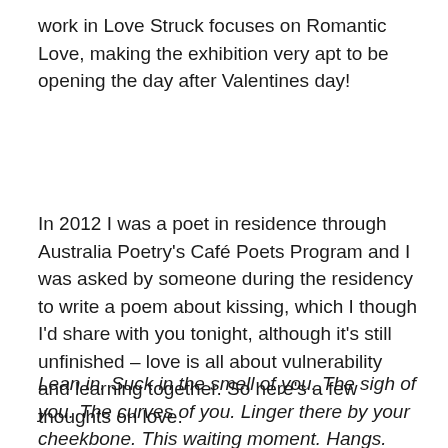work in Love Struck focuses on Romantic Love, making the exhibition very apt to be opening the day after Valentines day!
In 2012 I was a poet in residence through Australia Poetry's Café Poets Program and I was asked by someone during the residency to write a poem about kissing, which I though I'd share with you tonight, although it's still unfinished – love is all about vulnerability and learning together. So here's a few thoughts on love.
Lean in. Suck in the smell of you. The sigh of you. The curves of you. Linger there by your cheekbone. This waiting moment. Hangs. Across the sky. Across the